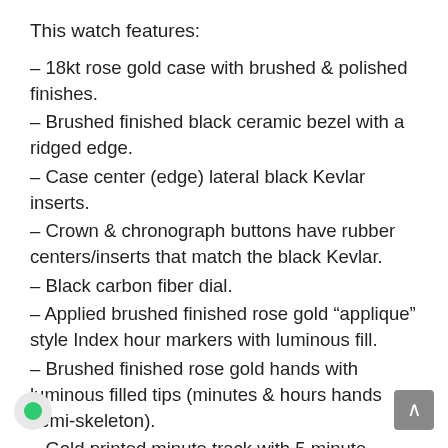This watch features:
– 18kt rose gold case with brushed & polished finishes.
– Brushed finished black ceramic bezel with a ridged edge.
– Case center (edge) lateral black Kevlar inserts.
– Crown & chronograph buttons have rubber centers/inserts that match the black Kevlar.
– Black carbon fiber dial.
– Applied brushed finished rose gold “applique” style Index hour markers with luminous fill.
– Brushed finished rose gold hands with luminous filled tips (minutes & hours hands semi-skeleton).
– Gold printed minute track with 5 minute Arabic numerals intervals on flat black rim on the outer edge of the dial.
– Immediately recognizable “H” style screws on bezel.
Chronograph stopwatch functions:
*Large central seconds counter with the “H” logo as a